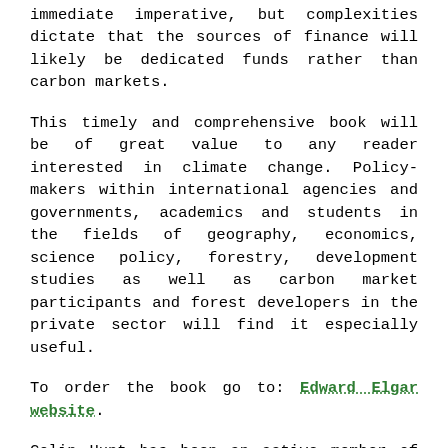immediate imperative, but complexities dictate that the sources of finance will likely be dedicated funds rather than carbon markets.
This timely and comprehensive book will be of great value to any reader interested in climate change. Policymakers within international agencies and governments, academics and students in the fields of geography, economics, science policy, forestry, development studies as well as carbon market participants and forest developers in the private sector will find it especially useful.
To order the book go to: Edward Elgar website.
Colin Hunt has been an active member of TREAT since 2000 and is a former vice-president. In the book